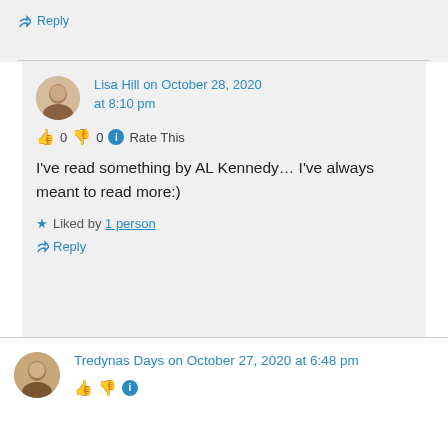↳ Reply
Lisa Hill on October 28, 2020 at 8:10 pm
👍 0 👎 0 ℹ Rate This
I've read something by AL Kennedy… I've always meant to read more:)
★ Liked by 1 person
↳ Reply
Tredynas Days on October 27, 2020 at 6:48 pm